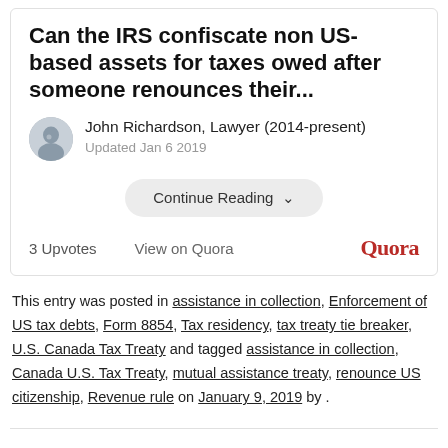Can the IRS confiscate non US-based assets for taxes owed after someone renounces their...
John Richardson, Lawyer (2014-present)
Updated Jan 6 2019
Continue Reading
3 Upvotes   View on Quora   Quora
This entry was posted in assistance in collection, Enforcement of US tax debts, Form 8854, Tax residency, tax treaty tie breaker, U.S. Canada Tax Treaty and tagged assistance in collection, Canada U.S. Tax Treaty, mutual assistance treaty, renounce US citizenship, Revenue rule on January 9, 2019 by .